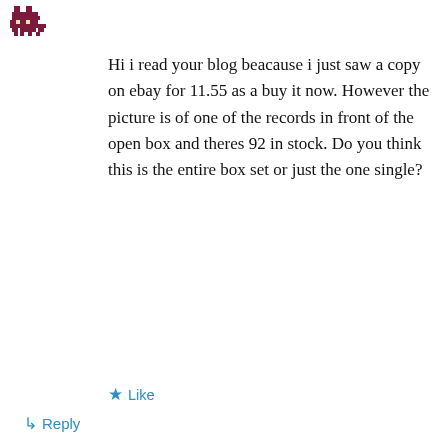[Figure (illustration): Small pixel-art style avatar icon in dark purple/maroon color, positioned top-left]
Hi i read your blog beacause i just saw a copy on ebay for 11.55 as a buy it now. However the picture is of one of the records in front of the open box and theres 92 in stock. Do you think this is the entire box set or just the one single?
★ Like
↳ Reply
Privacy & Cookies: This site uses cookies. By continuing to use this website, you agree to their use.
To find out more, including how to control cookies, see here: Cookie Policy